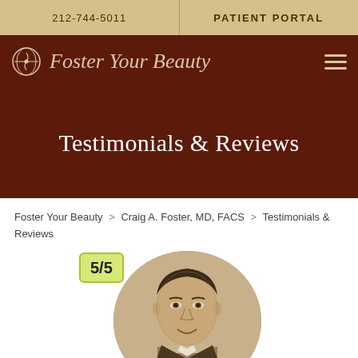212-744-5011   PATIENT PORTAL
Foster Your Beauty
Testimonials & Reviews
Foster Your Beauty > Craig A. Foster, MD, FACS > Testimonials & Reviews
[Figure (photo): Circular portrait photo of Dr. Craig A. Foster, a middle-aged man in a suit, black and white / sepia tone. A yellow-green rating badge reading 5/5 is overlaid in the upper left of the image.]